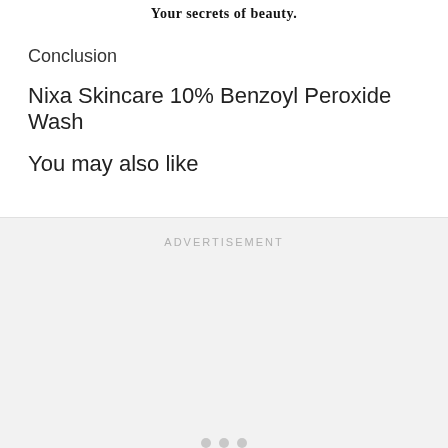Your secrets of beauty.
Conclusion
Nixa Skincare 10% Benzoyl Peroxide Wash
You may also like
ADVERTISEMENT